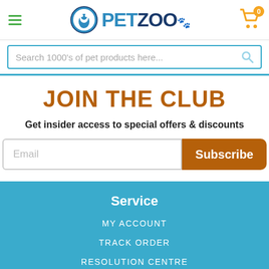PetZoo navigation header with hamburger menu and cart (0 items)
Search 1000's of pet products here...
JOIN THE CLUB
Get insider access to special offers & discounts
Email | Subscribe
Service
MY ACCOUNT
TRACK ORDER
RESOLUTION CENTRE